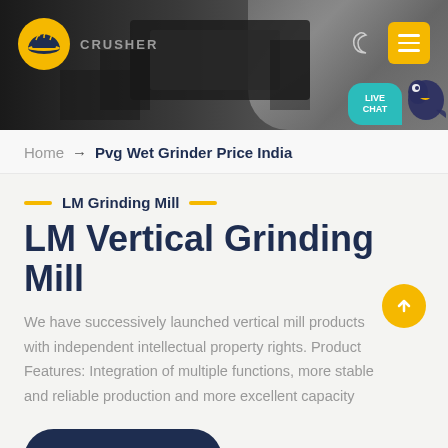[Figure (screenshot): Website header banner with dark industrial background showing crusher machinery, company logo (orange safety helmet icon), CRUSHER text, moon/dark-mode icon, yellow hamburger menu button, and teal LIVE CHAT bubble with bird icon]
Home → Pvg Wet Grinder Price India
LM Grinding Mill
LM Vertical Grinding Mill
We have successively launched vertical mill products with independent intellectual property rights. Product Features: Integration of multiple functions, more stable and reliable production and more excellent capacity
Read More →